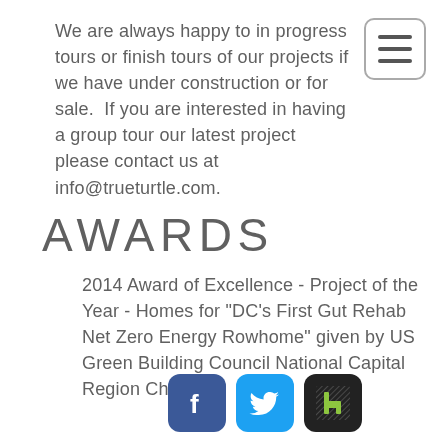We are always happy to in progress tours or finish tours of our projects if we have under construction or for sale.  If you are interested in having a group tour our latest project please contact us at info@trueturtle.com.
[Figure (other): Mobile navigation hamburger menu button with three horizontal lines inside a rounded rectangle border]
AWARDS
2014 Award of Excellence - Project of the Year - Homes for "DC's First Gut Rehab Net Zero Energy Rowhome" given by US Green Building Council National Capital Region Chapter
[Figure (logo): Social media icons: Facebook (blue rounded square with f), Twitter (light blue rounded square with bird), Houzz (dark/black rounded square with green h logo)]